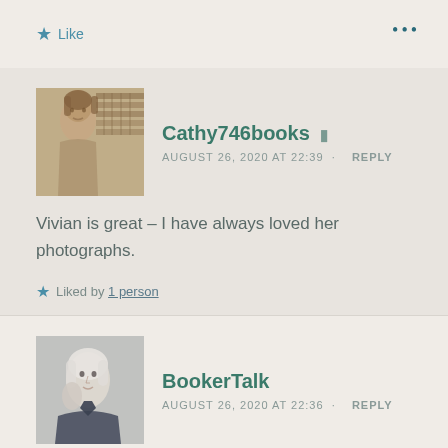Like
•••
Cathy746books
AUGUST 26, 2020 AT 22:39 · REPLY
Vivian is great – I have always loved her photographs.
Liked by 1 person
BookerTalk
AUGUST 26, 2020 AT 22:36 · REPLY